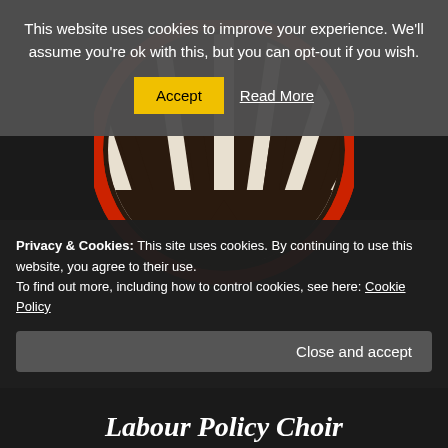This website uses cookies to improve your experience. We'll assume you're ok with this, but you can opt-out if you wish.
Accept  Read More
[Figure (logo): Circular logo with dark brown/black background and red border, featuring a stylized 'M' shape made of white and dark vertical stripes arranged in a semicircular fan pattern.]
Privacy & Cookies: This site uses cookies. By continuing to use this website, you agree to their use.
To find out more, including how to control cookies, see here: Cookie Policy
Close and accept
Labour Policy Choir